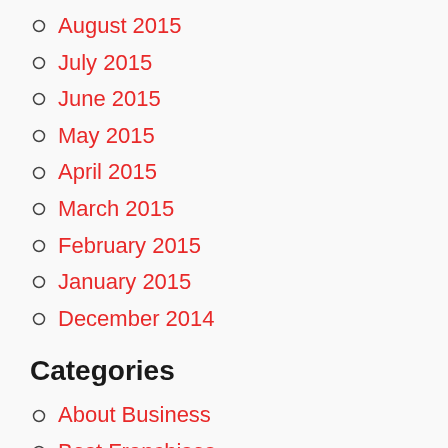August 2015
July 2015
June 2015
May 2015
April 2015
March 2015
February 2015
January 2015
December 2014
Categories
About Business
Best Franchises
Breaking News
Business Coaching